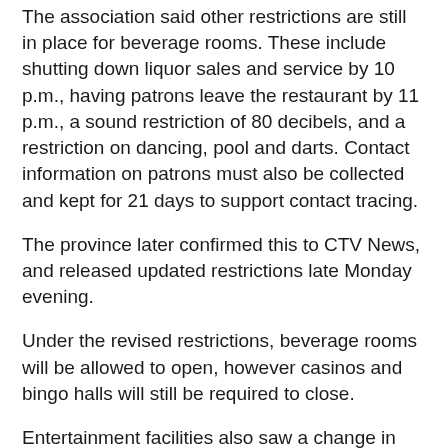The association said other restrictions are still in place for beverage rooms. These include shutting down liquor sales and service by 10 p.m., having patrons leave the restaurant by 11 p.m., a sound restriction of 80 decibels, and a restriction on dancing, pool and darts. Contact information on patrons must also be collected and kept for 21 days to support contact tracing.
The province later confirmed this to CTV News, and released updated restrictions late Monday evening.
Under the revised restrictions, beverage rooms will be allowed to open, however casinos and bingo halls will still be required to close.
Entertainment facilities also saw a change in the restrictions. While they are still slated to close for two weeks, along with the casinos and bingo halls – the province said they will now be able to provide food for take-out or delivery.